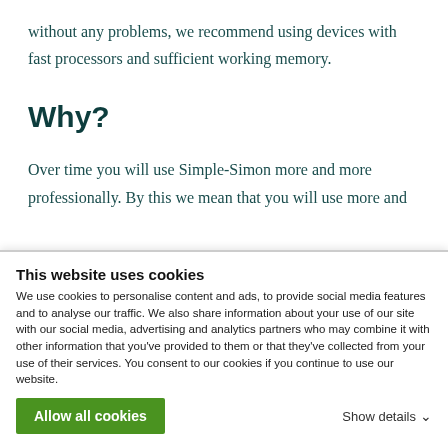without any problems, we recommend using devices with fast processors and sufficient working memory.
Why?
Over time you will use Simple-Simon more and more professionally. By this we mean that you will use more and
This website uses cookies
We use cookies to personalise content and ads, to provide social media features and to analyse our traffic. We also share information about your use of our site with our social media, advertising and analytics partners who may combine it with other information that you've provided to them or that they've collected from your use of their services. You consent to our cookies if you continue to use our website.
Allow all cookies
Show details